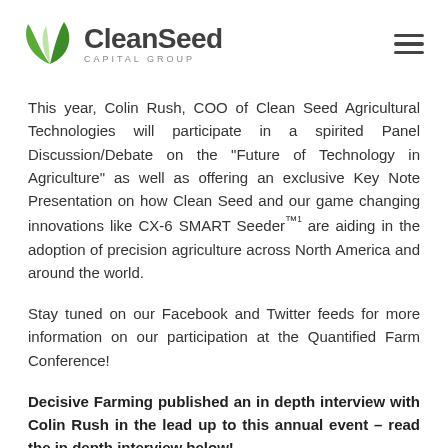CleanSeed CAPITAL GROUP
This year, Colin Rush, COO of Clean Seed Agricultural Technologies will participate in a spirited Panel Discussion/Debate on the "Future of Technology in Agriculture" as well as offering an exclusive Key Note Presentation on how Clean Seed and our game changing innovations like CX-6 SMART Seeder™¹ are aiding in the adoption of precision agriculture across North America and around the world.
Stay tuned on our Facebook and Twitter feeds for more information on our participation at the Quantified Farm Conference!
Decisive Farming published an in depth interview with Colin Rush in the lead up to this annual event – read the in depth interview below!